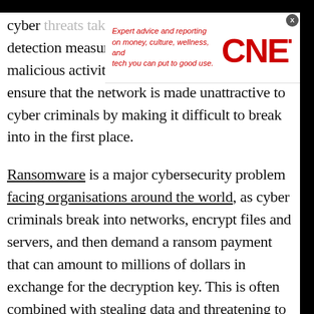[Figure (screenshot): CNET advertisement banner overlay showing italic red text 'Expert advice and reporting on money, culture, wellness, and tech you can put to good use.' alongside the red CNET logo. A close button (X) appears in the upper right corner.]
cyber threats takes more than just setting up detection measures to identify potential malicious activity. Cybersecurity teams need to ensure that the network is made unattractive to cyber criminals by making it difficult to break into in the first place.
Ransomware is a major cybersecurity problem facing organisations around the world, as cyber criminals break into networks, encrypt files and servers, and then demand a ransom payment that can amount to millions of dollars in exchange for the decryption key. This is often combined with stealing data and threatening to release it if a ransom isn't paid.